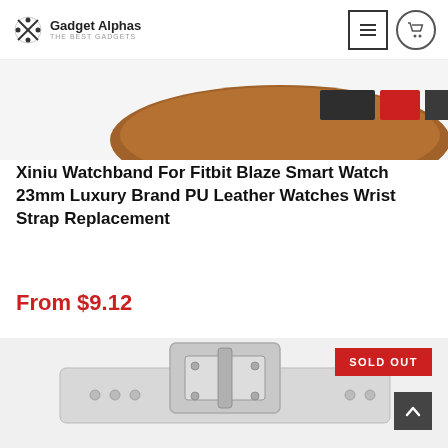Gadget Alphas — THE BEST GADGETS (logo with navigation icons)
[Figure (photo): Top portion of a brown leather Fitbit Blaze watchband with dark and red stripe accents visible at the top of the page.]
Xiniu Watchband For Fitbit Blaze Smart Watch 23mm Luxury Brand PU Leather Watches Wrist Strap Replacement
From $9.12
[Figure (photo): Silver metallic clasp and buckle mechanism of a watchband/wrist strap shown from the back, with SOLD OUT badge overlay.]